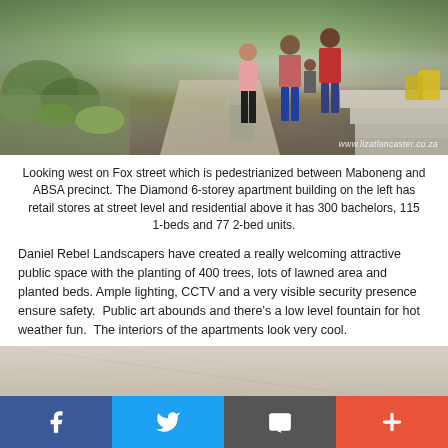[Figure (photo): Street-level photo looking west on Fox Street, Maboneng, Johannesburg. Pedestrian zone with people walking, green planted beds and trees on left, steps on right. Watermark: www.lizatlancaster.co.za]
Looking west on Fox street which is pedestrianized between Maboneng and ABSA precinct. The Diamond 6-storey apartment building on the left has retail stores at street level and residential above it has 300 bachelors, 115 1-beds and 77 2-bed units.
Daniel Rebel Landscapers have created a really welcoming attractive public space with the planting of 400 trees, lots of lawned area and planted beds. Ample lighting, CCTV and a very visible security presence ensure safety.  Public art abounds and there’s a low level fountain for hot weather fun.  The interiors of the apartments look very cool.
[Figure (photo): Partial photo of interior ceiling/wall of an apartment, beige/grey tones, cropped at bottom of page.]